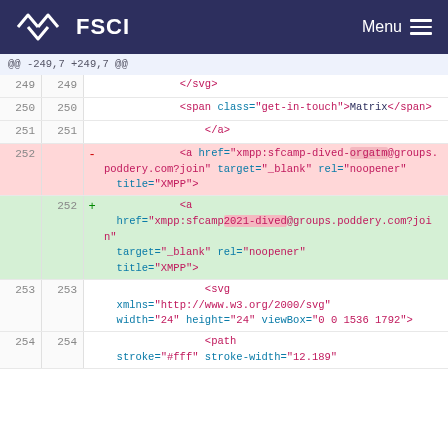FSCI  Menu
@@ -249,7 +249,7 @@
249  249      </svg>
250  250      <span class="get-in-touch">Matrix</span>
251  251          </a>
252  -  <a href="xmpp:sfcamp-dived-orgatm@groups.poddery.com?join" target="_blank" rel="noopener" title="XMPP">
252  +  <a href="xmpp:sfcamp2021-dived@groups.poddery.com?join" target="_blank" rel="noopener" title="XMPP">
253  253  <svg xmlns="http://www.w3.org/2000/svg" width="24" height="24" viewBox="0 0 1536 1792">
254  254  <path stroke="#fff" stroke-width="12.189"